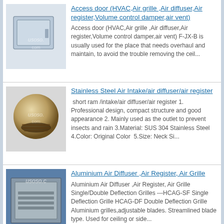[Figure (photo): Access door/HVAC panel product image with usoso.com watermark]
Access door (HVAC,Air grille ,Air diffuser,Air register,Volume control damper,air vent)
Access door (HVAC,Air grille ,Air diffuser,Air register,Volume control damper,air vent) F-JX-B is usually used for the place that needs overhaul and maintain, to avoid the trouble removing the ceil...
[Figure (photo): Stainless steel spherical air intake/diffuser/register product image with usoso.com watermark]
Stainless Steel Air Intake/air diffuser/air register
short ram /intake/air diffuser/air register 1. Professional design, compact structure and good appearance 2. Mainly used as the outlet to prevent insects and rain 3.Material: SUS 304 Stainless Steel 4.Color: Original Color  5.Size: Neck Si...
[Figure (photo): Aluminium air diffuser/register/grille product image with usoso.com watermark on blue background]
Aluminium Air Diffuser ,Air Register, Air Grille
Aluminium Air Diffuser ,Air Register, Air Grille   Single/Double Deflection Grilles ---HCAG-SF Single Deflection Grille HCAG-DF Double Deflection Grille Aluminium grilles,adjustable blades. Streamlined blade type. Used for ceiling or side...